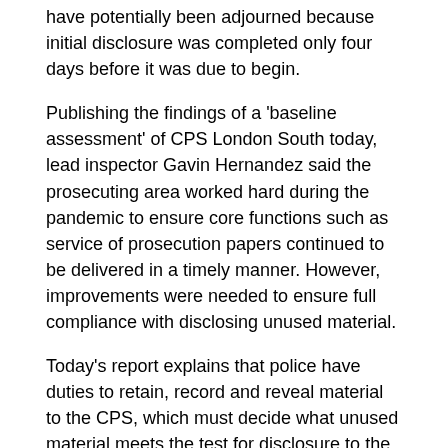have potentially been adjourned because initial disclosure was completed only four days before it was due to begin.
Publishing the findings of a 'baseline assessment' of CPS London South today, lead inspector Gavin Hernandez said the prosecuting area worked hard during the pandemic to ensure core functions such as service of prosecution papers continued to be delivered in a timely manner. However, improvements were needed to ensure full compliance with disclosing unused material.
Today's report explains that police have duties to retain, record and reveal material to the CPS, which must decide what unused material meets the test for disclosure to the defence. The test is whether the unused material is something 'which might reasonably be considered capable of undermining the case for the prosecution against the accused or of assisting the case for the accused'.
Inspectors found that 33.3% of cases they assessed in the magistrates' and Crown courts did not meet the required standard for initial disclosure (all non-sensitive unused material), a figure that rises to 36.8% for rape and serious